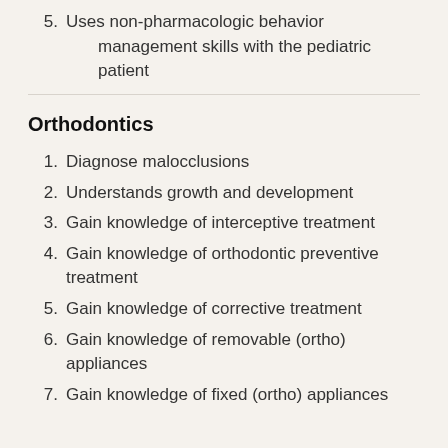5. Uses non-pharmacologic behavior management skills with the pediatric patient
Orthodontics
1. Diagnose malocclusions
2. Understands growth and development
3. Gain knowledge of interceptive treatment
4. Gain knowledge of orthodontic preventive treatment
5. Gain knowledge of corrective treatment
6. Gain knowledge of removable (ortho) appliances
7. Gain knowledge of fixed (ortho) appliances